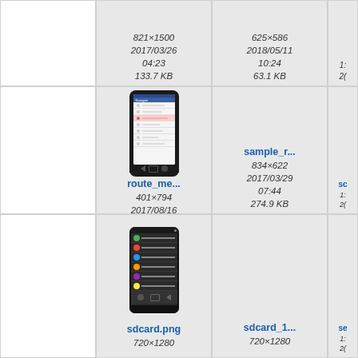[Figure (screenshot): File browser grid view showing image thumbnails and metadata. Row 1 partial: cell with 821×1500, 2017/03/26 04:23, 133.7 KB; cell with 625×586, 2018/05/11 10:24, 63.1 KB; partial third cell.]
821×1500
2017/03/26
04:23
133.7 KB
625×586
2018/05/11
10:24
63.1 KB
[Figure (screenshot): Thumbnail of route_me mobile app screenshot showing navigation drawer]
route_me...
401×794
2017/08/16
08:50
129.2 KB
sample_r...
834×622
2017/03/29
07:44
274.9 KB
[Figure (screenshot): Thumbnail of sdcard.png showing Android notification shade/settings panel]
sdcard.png
720×1280
sdcard_1...
720×1280